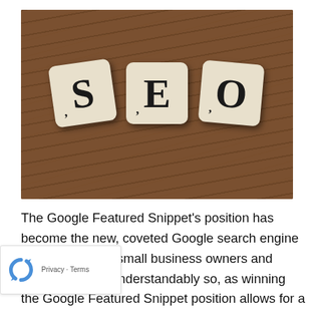[Figure (photo): Photo of three Scrabble-style letter tiles spelling 'SEO' arranged on a wooden surface. The tiles are cream/beige colored with black letters S, E, O.]
The Google Featured Snippet's position has become the new, coveted Google search engine position for both small business owners and marketers; and understandably so, as winning the Google Featured Snippet position allows for a ranking higher than the most traditionally desired position, of ranking #1 in